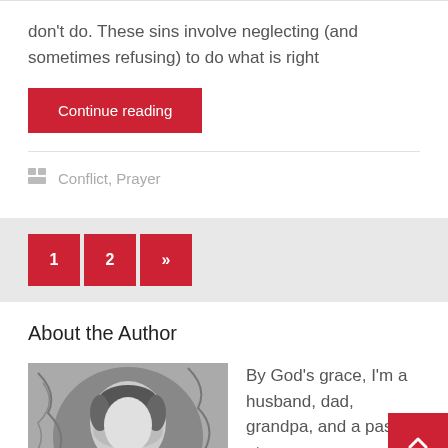don't do. These sins involve neglecting (and sometimes refusing) to do what is right
Continue reading
Conflict, Prayer
1
2
»
About the Author
[Figure (photo): Black and white portrait photo of a person]
By God's grace, I'm a husband, dad, grandpa, and a pastor at